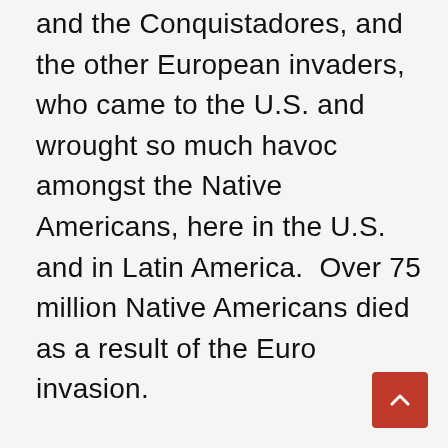and the Conquistadores, and the other European invaders, who came to the U.S. and wrought so much havoc amongst the Native Americans, here in the U.S. and in Latin America.  Over 75 million Native Americans died as a result of the Euro invasion.